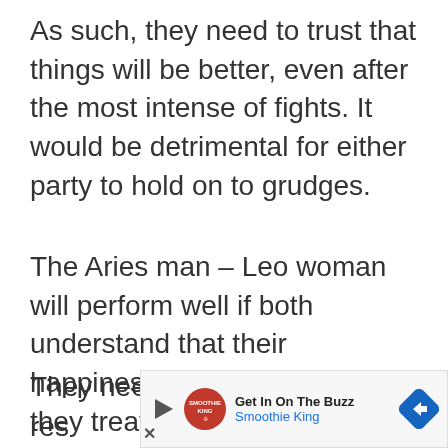As such, they need to trust that things will be better, even after the most intense of fights. It would be detrimental for either party to hold on to grudges.
The Aries man – Leo woman will perform well if both understand that their happiness depends on how they treat each other.
They need to treat each other with res...
[Figure (other): Advertisement banner for Smoothie King with play button icon, Smoothie King logo, text 'Get In On The Buzz / Smoothie King', and a blue navigation arrow icon. An X close button is visible at bottom left.]